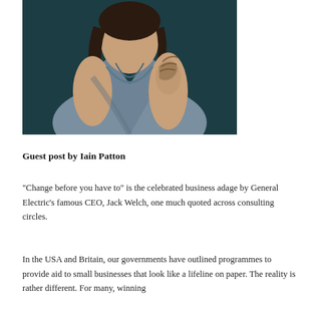[Figure (photo): Portrait photo of a woman wearing a grey-blue sleeveless wrap dress with a tattoo visible on her right arm, posed against a dark teal/navy background.]
Guest post by Iain Patton
“Change before you have to” is the celebrated business adage by General Electric’s famous CEO, Jack Welch, one much quoted across consulting circles.
In the USA and Britain, our governments have outlined programmes to provide aid to small businesses that look like a lifeline on paper. The reality is rather different. For many, winning